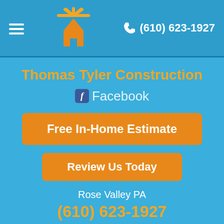(610) 623-1927
Thomas Tyler Construction
Facebook
Free In-Home Estimate
Review Us Today
Rose Valley PA
(610) 623-1927
Call Now !!!